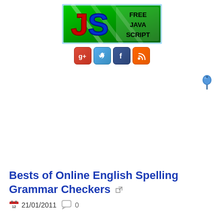[Figure (logo): Free JavaScript banner logo with colorful JS letters on green background with text FREE JAVA SCRIPT]
[Figure (infographic): Row of four social media icon buttons: Google+, Twitter, Facebook, RSS feed]
[Figure (illustration): Blue pushpin/thumbtack icon on right side]
Bests of Online English Spelling Grammar Checkers
21/01/2011  0